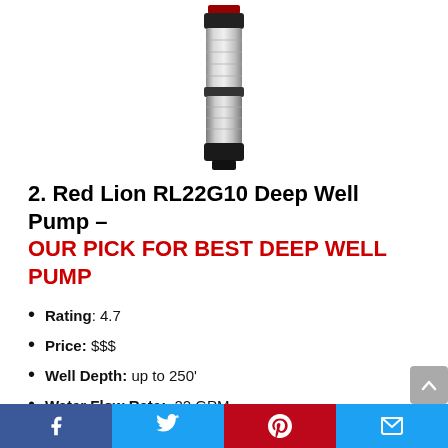[Figure (photo): Product photo of a Red Lion RL22G10 deep well pump — a cylindrical stainless steel submersible pump with a black cap at the bottom and a red label band near the top]
2. Red Lion RL22G10 Deep Well Pump – OUR PICK FOR BEST DEEP WELL PUMP
Rating: 4.7
Price: $$$
Well Depth: up to 250'
Water Flow Rate:  22 GPM
This deep well pump from Red Lion is a bit more expensive
Facebook | Twitter | Pinterest | Email